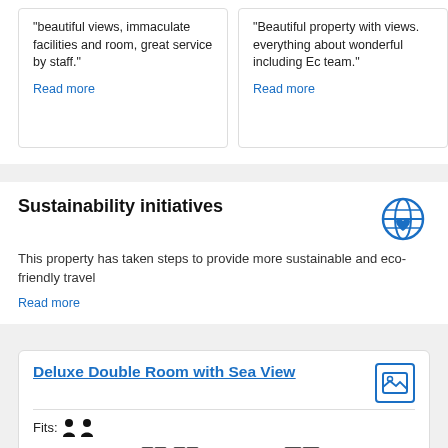"beautiful views, immaculate facilities and room, great service by staff."
Read more
"Beautiful property with views. everything about wonderful including Ec team."
Read more
Sustainability initiatives
This property has taken steps to provide more sustainable and eco-friendly travel
Read more
Deluxe Double Room with Sea View
Fits:
Beds: 2 twin beds or 1 king bed